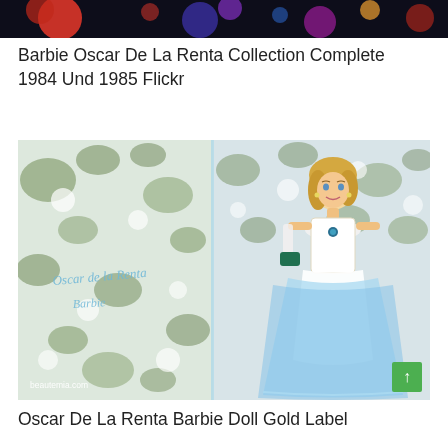[Figure (photo): Cropped top portion of an image showing colorful bokeh lights or flowers on dark background]
Barbie Oscar De La Renta Collection Complete 1984 Und 1985 Flickr
[Figure (photo): Oscar de la Renta Barbie doll in white lace and blue tulle gown displayed in box with floral interior. Left side shows 'Oscar de la Renta Barbie' cursive text. Watermark: beautemia.com. Green scroll-to-top button in bottom right.]
Oscar De La Renta Barbie Doll Gold Label